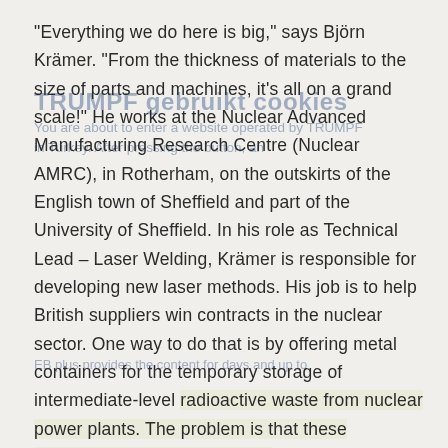“Everything we do here is big,” says Björn Krämer. “From the thickness of materials to the size of parts and machines, it’s all on a grand scale!” He works at the Nuclear Advanced Manufacturing Research Centre (Nuclear AMRC), in Rotherham, on the outskirts of the English town of Sheffield and part of the University of Sheffield. In his role as Technical Lead – Laser Welding, Krämer is responsible for developing new laser methods. His job is to help British suppliers win contracts in the nuclear sector. One way to do that is by offering metal containers for the temporary storage of intermediate-level radioactive waste from nuclear power plants. The problem is that these containers are in short supply. Although they come in various designs, all of them are welded by hand, which is a time-consuming process. It